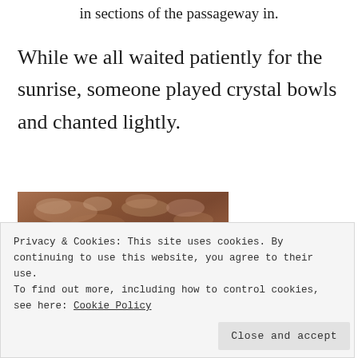in sections of the passageway in.
While we all waited patiently for the sunrise, someone played crystal bowls and chanted lightly.
[Figure (photo): Close-up photograph of layered stone or rock surface, brownish-tan in color, showing texture of an ancient passageway or cave wall. A second partial photo appears at the very bottom.]
Privacy & Cookies: This site uses cookies. By continuing to use this website, you agree to their use.
To find out more, including how to control cookies, see here: Cookie Policy
Close and accept